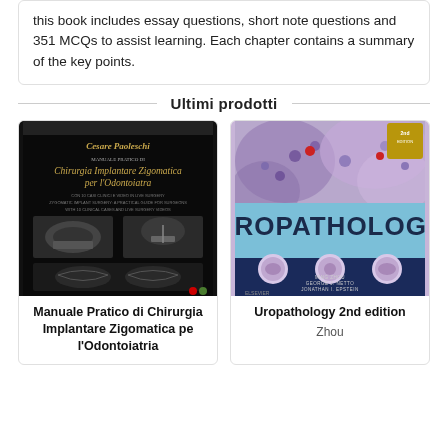this book includes essay questions, short note questions and 351 MCQs to assist learning. Each chapter contains a summary of the key points.
Ultimi prodotti
[Figure (photo): Book cover: Cesare Paoleschi – Manuale Pratico di Chirurgia Implantare Zigomatica per l'Odontoiatra, black cover with dental implant imagery]
Manuale Pratico di Chirurgia Implantare Zigomatica pe l'Odontoiatria
[Figure (photo): Book cover: Uropathology 2nd edition by Ming Zhou, George J. Netto, Jonathan I. Epstein – light blue and purple cover with histology images]
Uropathology 2nd edition
Zhou